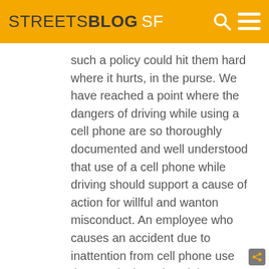STREETSBLOG SF
such a policy could hit them hard where it hurts, in the purse. We have reached a point where the dangers of driving while using a cell phone are so thoroughly documented and well understood that use of a cell phone while driving should support a cause of action for willful and wanton misconduct. An employee who causes an accident due to inattention from cell phone use that results in serious injury or death should result in the employer being held liable to pay very substantial punitive damages to the